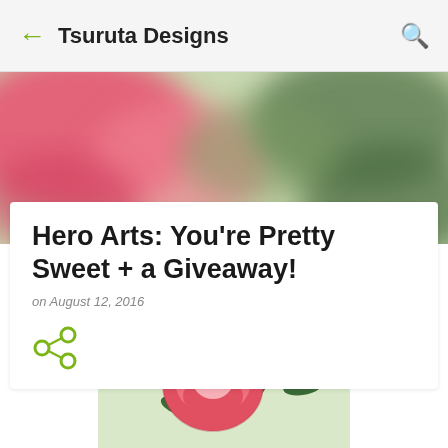Tsuruta Designs
[Figure (photo): Blurred banner image with pink and green floral tones]
Hero Arts: You're Pretty Sweet + a Giveaway!
on August 12, 2016
[Figure (illustration): Share icon (three connected circles in olive/green color)]
[Figure (illustration): Illustrated red peony flower with green leaves on light green background]